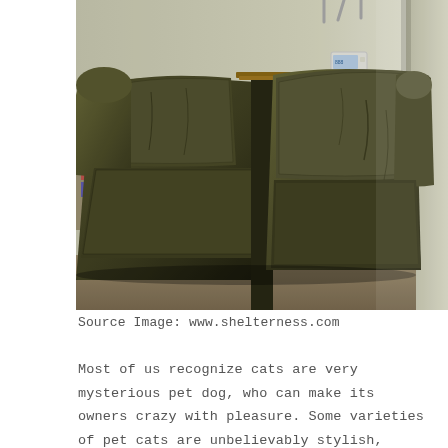[Figure (photo): Indoor photograph of a large olive/dark green fabric recliner sofa in a room with beige walls. A small side table is visible between the recliner arms, and a white thermostat is mounted on the wall in the background. There is a light source from the right side.]
Source Image: www.shelterness.com
Most of us recognize cats are very mysterious pet dog, who can make its owners crazy with pleasure. Some varieties of pet cats are unbelievably stylish, while others are clumsy as well as amusing. Possibly, this is